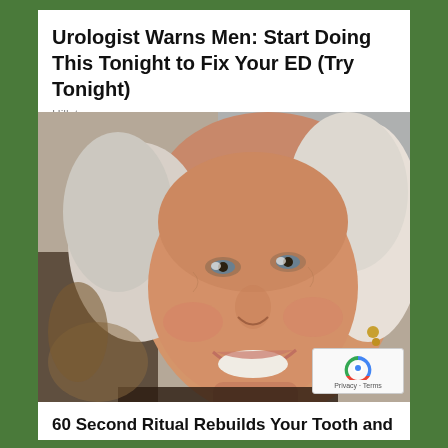Urologist Warns Men: Start Doing This Tonight to Fix Your ED (Try Tonight)
Hillstone
[Figure (photo): Close-up photo of a smiling elderly woman with white/silver hair, wearing earrings, looking at the camera with a warm smile.]
60 Second Ritual Rebuilds Your Tooth and